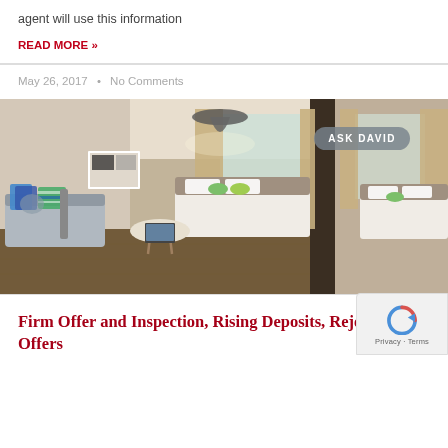agent will use this information
READ MORE »
May 26, 2017  •  No Comments
[Figure (photo): Interior photo of a modern hotel/apartment room with two beds, pendant lamp, sofa with colorful pillows, and a small table with a laptop. An 'ASK DAVID' badge appears in the upper right corner of the image.]
Firm Offer and Inspection, Rising Deposits, Rejected Offers